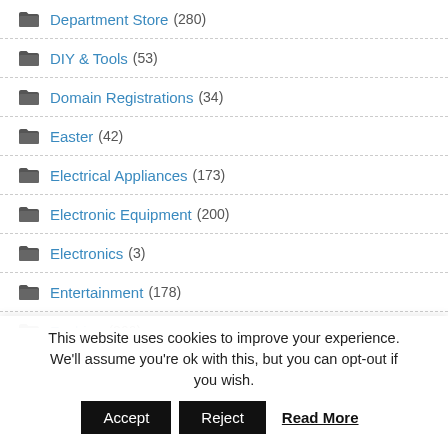Department Store (280)
DIY & Tools (53)
Domain Registrations (34)
Easter (42)
Electrical Appliances (173)
Electronic Equipment (200)
Electronics (3)
Entertainment (178)
Fashion (366)
This website uses cookies to improve your experience. We'll assume you're ok with this, but you can opt-out if you wish. Accept Reject Read More